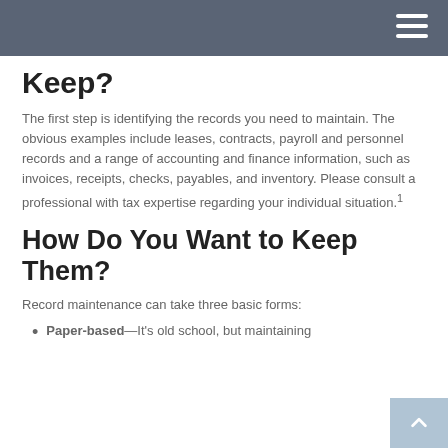Keep?
The first step is identifying the records you need to maintain. The obvious examples include leases, contracts, payroll and personnel records and a range of accounting and finance information, such as invoices, receipts, checks, payables, and inventory. Please consult a professional with tax expertise regarding your individual situation.1
How Do You Want to Keep Them?
Record maintenance can take three basic forms:
Paper-based—It's old school, but maintaining